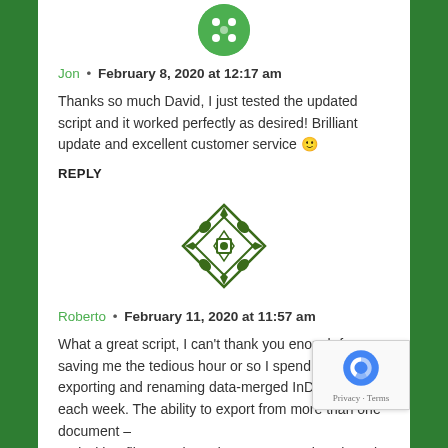[Figure (logo): Green circular avatar icon at top]
Jon • February 8, 2020 at 12:17 am
Thanks so much David, I just tested the updated script and it worked perfectly as desired! Brilliant update and excellent customer service 🙂
REPLY
[Figure (logo): Green decorative snowflake/mandala avatar icon]
Roberto • February 11, 2020 at 11:57 am
What a great script, I can't thank you enough for saving me the tedious hour or so I spend manually exporting and renaming data-merged InDesign files each week. The ability to export from more than one document — and with a filename based on a paragraph style — is